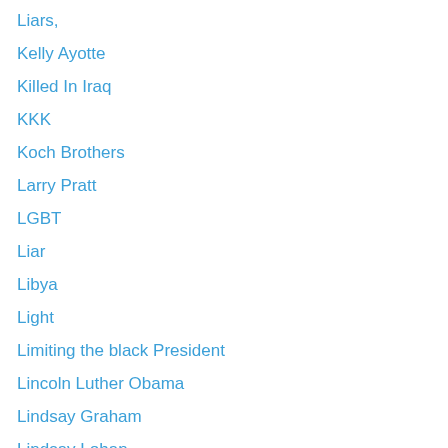Liars,
Kelly Ayotte
Killed In Iraq
KKK
Koch Brothers
Larry Pratt
LGBT
Liar
Libya
Light
Limiting the black President
Lincoln Luther Obama
Lindsay Graham
Lindsay Lohan
Love Food
Mahatma Gandhi
Maureen Dowd
McCain gone bonkers
Media
Media Bias For GOP